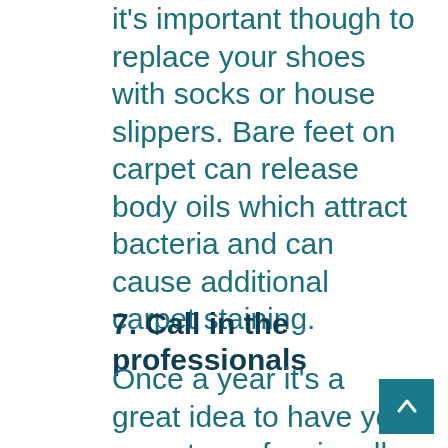it's important though to replace your shoes with socks or house slippers. Bare feet on carpet can release body oils which attract bacteria and can cause additional carpet staining.
7. Call in the professionals
Once a year it's a great idea to have your carpets professionally cleaned to remove the dirt, dust mites and bacteria that you...